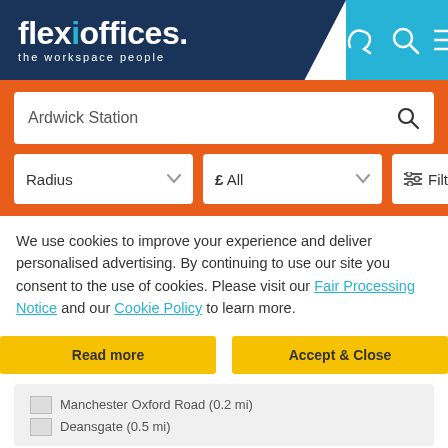[Figure (logo): Flexioffices logo with tagline 'the workspace people' on dark navy background with cyan accent for 'i']
[Figure (screenshot): Search bar with text 'Ardwick Station' and a search icon]
[Figure (screenshot): Filter row with Radius dropdown, £ All dropdown, and Filters dropdown]
We use cookies to improve your experience and deliver personalised advertising. By continuing to use our site you consent to the use of cookies. Please visit our Fair Processing Notice and our Cookie Policy to learn more.
Read more
Accept & Close
Manchester Oxford Road (0.2 mi)
Deansgate (0.5 mi)